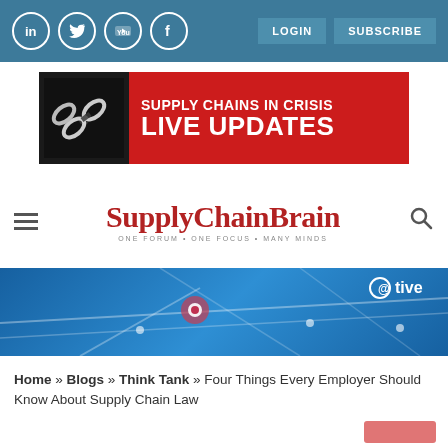Social icons: LinkedIn, Twitter, YouTube, Facebook | Buttons: LOGIN, SUBSCRIBE
[Figure (infographic): Banner ad: black-and-white chain image on left, red background on right with text SUPPLY CHAINS IN CRISIS LIVE UPDATES]
[Figure (logo): SupplyChainBrain logo in red serif font. Tagline: ONE FORUM • ONE FOCUS • MANY MINDS. Hamburger menu icon on left, search icon on right.]
[Figure (photo): Blue map/tracking graphic with location pin and Tive branding in white text]
Home » Blogs » Think Tank » Four Things Every Employer Should Know About Supply Chain Law